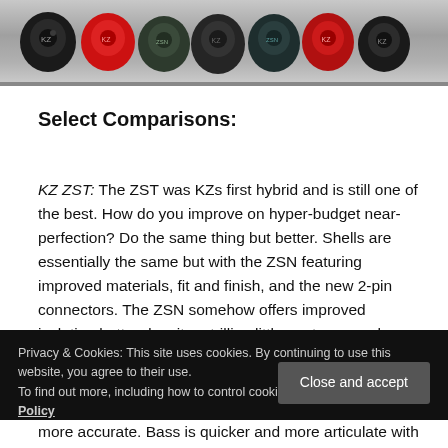[Figure (photo): Row of in-ear monitor earbuds/earphones in various colors including black, red, and dark green/grey, displayed on a light surface]
Select Comparisons:
KZ ZST: The ZST was KZs first hybrid and is still one of the best. How do you improve on hyper-budget near-perfection? Do the same thing but better. Shells are essentially the same but with the ZSN featuring improved materials, fit and finish, and the new 2-pin connectors. The ZSN somehow offers improved isolation better despite a trillion little vents everywhere.
Privacy & Cookies: This site uses cookies. By continuing to use this website, you agree to their use.
To find out more, including how to control cookies, see here: Cookie Policy
more accurate. Bass is quicker and more articulate with improved